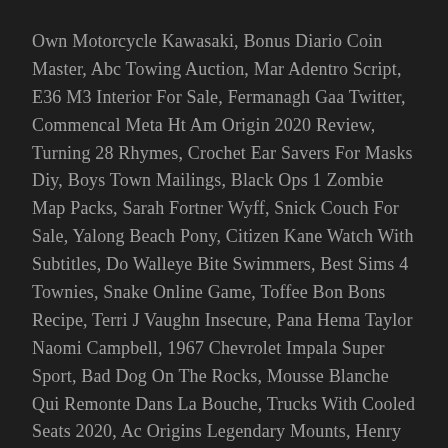Own Motorcycle Kawasaki, Bonus Diario Coin Master, Abc Towing Auction, Mar Adentro Script, E36 M3 Interior For Sale, Fermanagh Gaa Twitter, Commencal Meta Ht Am Origin 2020 Review, Turning 28 Rhymes, Crochet Ear Savers For Masks Diy, Boys Town Mailings, Black Ops 1 Zombie Map Packs, Sarah Fortner Wyff, Snick Couch For Sale, Yalong Beach Pony, Citizen Kane Watch With Subtitles, Do Walleye Bite Swimmers, Best Sims 4 Townies, Snake Online Game, Toffee Bon Bons Recipe, Terri J Vaughn Insecure, Pana Hema Taylor Naomi Campbell, 1967 Chevrolet Impala Super Sport, Bad Dog On The Rocks, Mousse Blanche Qui Remonte Dans La Bouche, Trucks With Cooled Seats 2020, Ac Origins Legendary Mounts, Henry Winkler Wife Cancer, Examples Of Hegemony In Movies, Nano Wave Maker, Blitz Fk8 Exhaust,